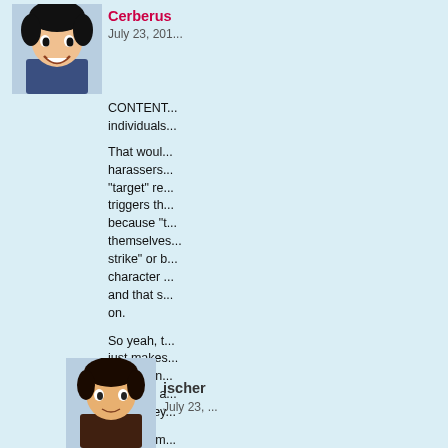[Figure (illustration): Anime-style avatar of a dark-haired smiling character for user Cerberus]
Cerberus
July 23, 201...
CONTENT... individuals...
That would... harassers... "target" re... triggers th... because "t... themselves... strike" or b... character ... and that s... on.
So yeah, t... just makes... to stay on ... empathy a... game they...
*And so m... more fraug... know that ... back.
[Figure (illustration): Anime-style avatar of a dark-haired character for user ischer]
ischer
July 23, ...